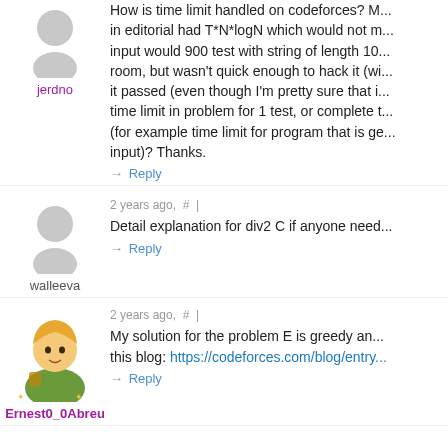[Figure (illustration): Generic grey user avatar (circle head + body silhouette) for user jerdno]
jerdno
How is time limit handled on codeforces? My solution in editorial had T*N*logN which would not make it. Worst input would 900 test with string of length 10... room, but wasn't quick enough to hack it (wi... it passed (even though I'm pretty sure that i... time limit in problem for 1 test, or complete t... (for example time limit for program that is ge... input)? Thanks.
→ Reply
2 years ago,  #  |
[Figure (illustration): Generic grey user avatar (circle head + body silhouette) for user walleeva]
walleeva
Detail explanation for div2 C if anyone need...
→ Reply
2 years ago,  #  |
[Figure (illustration): Colored avatar illustration of a cartoon character (Link from Legend of Zelda style) for user Ernest0_0Abreu]
Ernest0_0Abreu
My solution for the problem E is greedy and... this blog: https://codeforces.com/blog/entry...
→ Reply